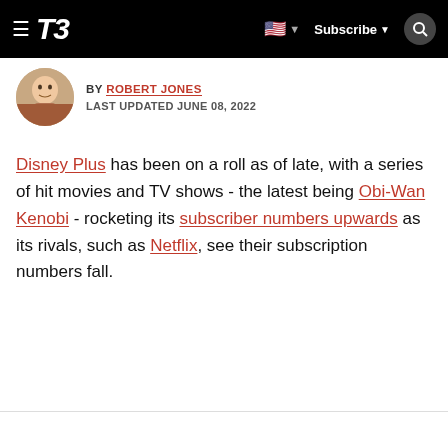T3 | Subscribe
BY ROBERT JONES
LAST UPDATED JUNE 08, 2022
Disney Plus has been on a roll as of late, with a series of hit movies and TV shows - the latest being Obi-Wan Kenobi - rocketing its subscriber numbers upwards as its rivals, such as Netflix, see their subscription numbers fall.